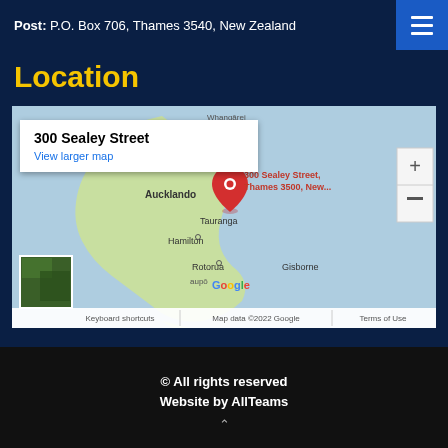Post: P.O. Box 706, Thames 3540, New Zealand
Location
[Figure (map): Google Maps screenshot showing 300 Sealey Street, Thames 3500, New Zealand with a red location pin, showing the North Island of New Zealand with Auckland, Hamilton, Tauranga, Rotorua, Gisborne labeled. Includes zoom controls, satellite thumbnail, and footer with 'Keyboard shortcuts | Map data ©2022 Google | Terms of Use']
© All rights reserved
Website by AllTeams